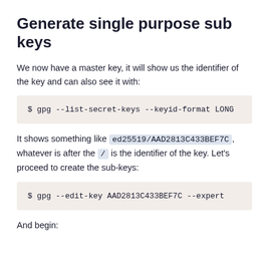Generate single purpose sub keys
We now have a master key, it will show us the identifier of the key and can also see it with:
$ gpg --list-secret-keys --keyid-format LONG
It shows something like ed25519/AAD2813C433BEF7C, whatever is after the / is the identifier of the key. Let’s proceed to create the sub-keys:
$ gpg --edit-key AAD2813C433BEF7C --expert
And begin: